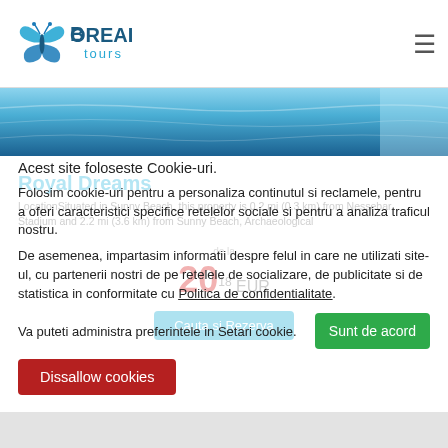Boreal Tours logo and navigation
[Figure (photo): Swimming pool water surface, blue tones, top portion of hotel pool image]
Acest site foloseste Cookie-uri.
Folosim cookie-uri pentru a personaliza continutul si reclamele, pentru a oferi caracteristici specifice retelelor sociale si pentru a analiza traficul nostru.
De asemenea, impartasim informatii despre felul in care ne utilizati site-ul, cu partenerii nostri de pe retelele de socializare, de publicitate si de statistica in conformitate cu Politica de confidentialitate.
Va puteti administra preferintele in Setari cookie.
Sunt de acord
Dissallow cookies